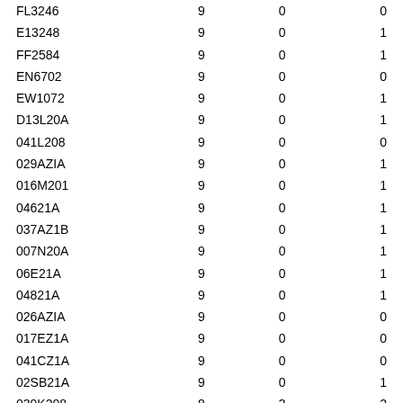| FL3246 | 9 | 0 | 0 |
| E13248 | 9 | 0 | 1 |
| FF2584 | 9 | 0 | 1 |
| EN6702 | 9 | 0 | 0 |
| EW1072 | 9 | 0 | 1 |
| D13L20A | 9 | 0 | 1 |
| 041L208 | 9 | 0 | 0 |
| 029AZIA | 9 | 0 | 1 |
| 016M201 | 9 | 0 | 1 |
| 04621A | 9 | 0 | 1 |
| 037AZ1B | 9 | 0 | 1 |
| 007N20A | 9 | 0 | 1 |
| 06E21A | 9 | 0 | 1 |
| 04821A | 9 | 0 | 1 |
| 026AZIA | 9 | 0 | 0 |
| 017EZ1A | 9 | 0 | 0 |
| 041CZ1A | 9 | 0 | 0 |
| 02SB21A | 9 | 0 | 1 |
| 039K208 | 8 | 3 | 2 |
| 043220A | 8 | 2 | 0 |
| EJI686 | 8 | 2 | 0 |
| 00321A | 8 | 1 | 0 |
| EP1533 | 8 | 1 | 2 |
| E11284 | 8 | 1 | 1 |